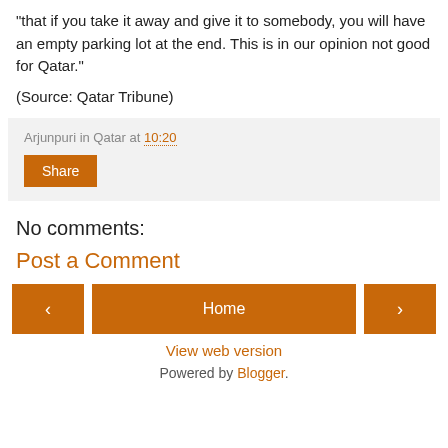“that if you take it away and give it to somebody, you will have an empty parking lot at the end. This is in our opinion not good for Qatar.”
(Source: Qatar Tribune)
Arjunpuri in Qatar at 10:20
Share
No comments:
Post a Comment
Home
View web version
Powered by Blogger.